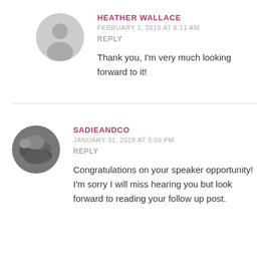HEATHER WALLACE
FEBRUARY 1, 2018 AT 8:11 AM
REPLY
Thank you, I'm very much looking forward to it!
SADIEANDCO
JANUARY 31, 2018 AT 9:59 PM
REPLY
Congratulations on your speaker opportunity! I'm sorry I will miss hearing you but look forward to reading your follow up post.